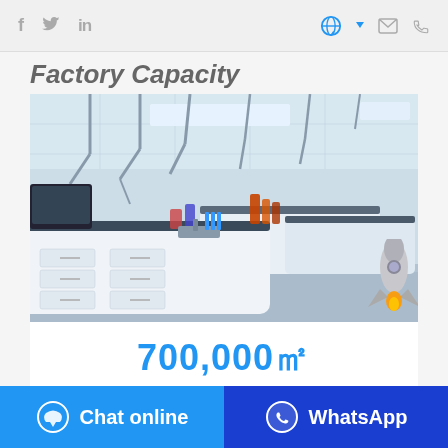Social icons and navigation bar with f, in, globe, email, phone icons
Factory Capacity
[Figure (photo): Modern laboratory interior with white workbenches, glass equipment, overhead extraction arms, and scientific apparatus on a blue-grey floor]
700,000㎡
In-house Plant Area
Chat online | WhatsApp